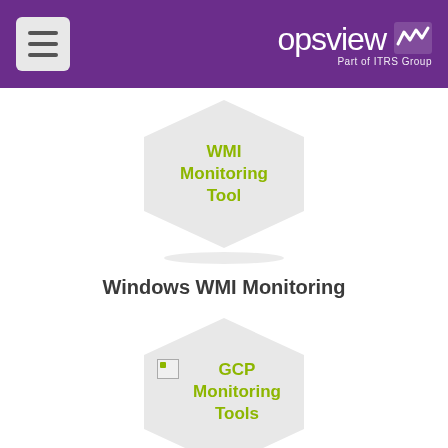opsview — Part of ITRS Group
[Figure (illustration): Hexagon shape with text 'WMI Monitoring Tool' in olive/yellow-green color on light grey background]
Windows WMI Monitoring
[Figure (illustration): Hexagon shape with broken image icon and text 'GCP Monitoring Tools' in olive/yellow-green color on light grey background]
GCP Monitoring